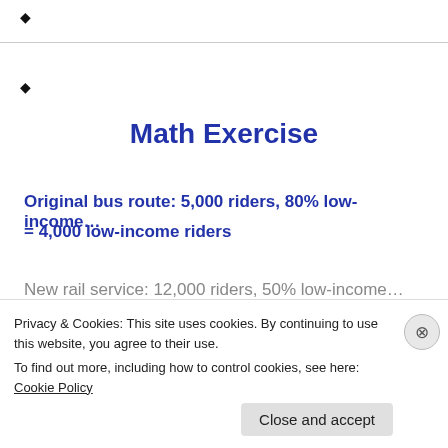♦
♦
Math Exercise
Original bus route: 5,000 riders, 80% low-income…
= 4,000 low-income riders
New rail service: 12,000 riders, 50% low-income…
= 6,000 low-income riders … i.e., 2,000 ADDITIONAL
Privacy & Cookies: This site uses cookies. By continuing to use this website, you agree to their use.
To find out more, including how to control cookies, see here: Cookie Policy